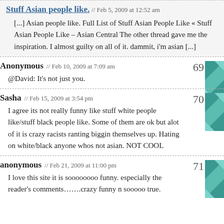Stuff Asian people like. // Feb 5, 2009 at 12:52 am
[...] Asian people like. Full List of Stuff Asian People Like « Stuff Asian People Like – Asian Central The other thread gave me the inspiration. I almost guilty on all of it. dammit, i'm asian [...]
Anonymous // Feb 10, 2009 at 7:09 am  69
@David: It's not just you.
Sasha // Feb 15, 2009 at 3:54 pm  70
I agree its not really funny like stuff white people like/stuff black people like. Some of them are ok but alot of it is crazy racists ranting biggin themselves up. Hating on white/black anyone whos not asian. NOT COOL
anonymous // Feb 21, 2009 at 11:00 pm  71
I love this site it is soooooooo funny. especially the reader's comments…….crazy funny n sooooo true.